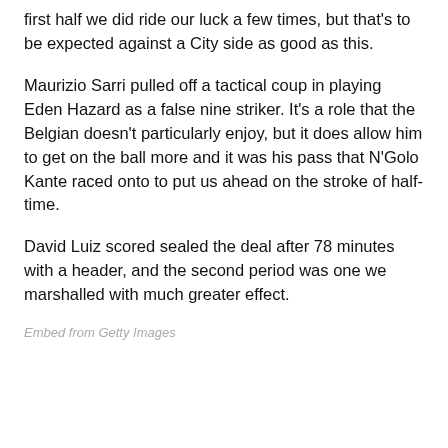first half we did ride our luck a few times, but that's to be expected against a City side as good as this.
Maurizio Sarri pulled off a tactical coup in playing Eden Hazard as a false nine striker. It's a role that the Belgian doesn't particularly enjoy, but it does allow him to get on the ball more and it was his pass that N'Golo Kante raced onto to put us ahead on the stroke of half-time.
David Luiz scored sealed the deal after 78 minutes with a header, and the second period was one we marshalled with much greater effect.
Embed from Getty Images